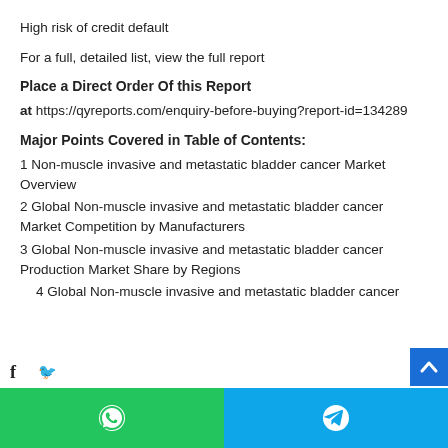High risk of credit default
For a full, detailed list, view the full report
Place a Direct Order Of this Report
at https://qyreports.com/enquiry-before-buying?report-id=134289
Major Points Covered in Table of Contents:
1 Non-muscle invasive and metastatic bladder cancer Market Overview
2 Global Non-muscle invasive and metastatic bladder cancer Market Competition by Manufacturers
3 Global Non-muscle invasive and metastatic bladder cancer Production Market Share by Regions
4 Global Non-muscle invasive and metastatic bladder cancer